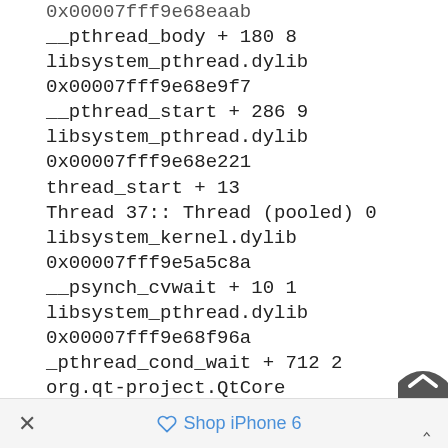0x00007fff9e68eaab (partial, truncated at top)
__pthread_body + 180 8
libsystem_pthread.dylib 0x00007fff9e68e9f7
__pthread_start + 286 9
libsystem_pthread.dylib 0x00007fff9e68e221
thread_start + 13
Thread 37:: Thread (pooled) 0
libsystem_kernel.dylib 0x00007fff9e5a5c8a
__psynch_cvwait + 10 1
libsystem_pthread.dylib 0x00007fff9e68f96a
_pthread_cond_wait + 712 2
org.qt-project.QtCore 0x000000010bc948d0
0x10bc68000 + 123480 3 (partial, truncated at bottom)
× Shop iPhone 6 ^